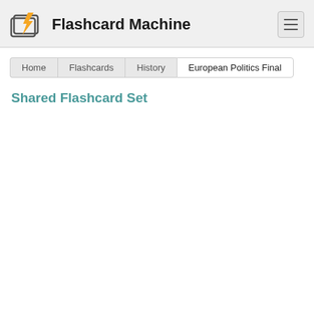Flashcard Machine
Home | Flashcards | History | European Politics Final
Shared Flashcard Set